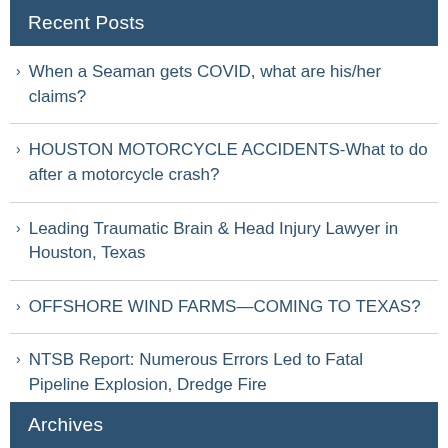Recent Posts
When a Seaman gets COVID, what are his/her claims?
HOUSTON MOTORCYCLE ACCIDENTS-What to do after a motorcycle crash?
Leading Traumatic Brain & Head Injury Lawyer in Houston, Texas
OFFSHORE WIND FARMS—COMING TO TEXAS?
NTSB Report: Numerous Errors Led to Fatal Pipeline Explosion, Dredge Fire
Archives